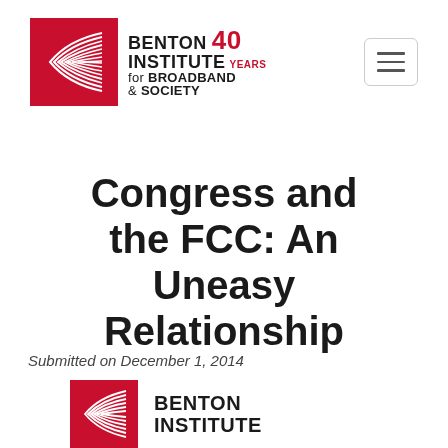[Figure (logo): Benton Institute for Broadband & Society logo with 40 Years mark, red rectangular icon with white wave lines, text BENTON INSTITUTE 40 YEARS for BROADBAND & SOCIETY]
[Figure (other): Hamburger menu button, three horizontal lines inside a rounded rectangle border]
Congress and the FCC: An Uneasy Relationship
Submitted on December 1, 2014
[Figure (logo): Partial Benton Institute logo at bottom of page, red icon and BENTON INSTITUTE text]